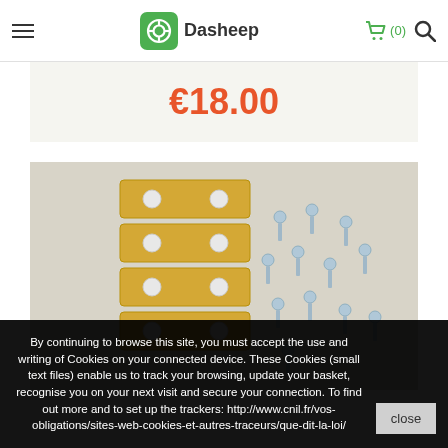Dasheep
€18.00
[Figure (photo): Product photo showing four gold/brass rectangular metal plates with two holes each, stacked vertically on the left, and approximately 12 silver screws/bolts scattered on the right, on a light grey background.]
By continuing to browse this site, you must accept the use and writing of Cookies on your connected device. These Cookies (small text files) enable us to track your browsing, update your basket, recognise you on your next visit and secure your connection. To find out more and to set up the trackers: http://www.cnil.fr/vos-obligations/sites-web-cookies-et-autres-traceurs/que-dit-la-loi/